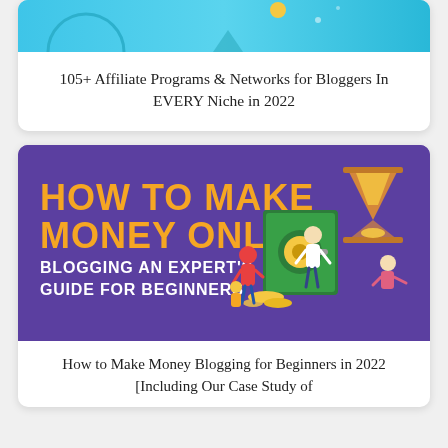[Figure (illustration): Top portion of a card with a light blue/teal background with decorative elements (circles, dots, arrow) visible at the bottom crop]
105+ Affiliate Programs & Networks for Bloggers In EVERY Niche in 2022
[Figure (infographic): Purple banner image with bold orange and white text reading 'HOW TO MAKE MONEY ONLINE BLOGGING AN EXPERT'S GUIDE FOR BEGINNERS' with an illustration of people around a safe vault and an hourglass on the right side]
How to Make Money Blogging for Beginners in 2022 [Including Our Case Study of